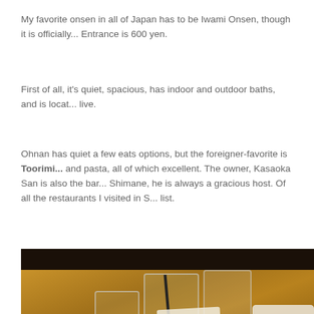My favorite onsen in all of Japan has to be Iwami Onsen, though it is officially... Entrance is 600 yen.
First of all, it's quiet, spacious, has indoor and outdoor baths, and is located... live.
Ohnan has quiet a few eats options, but the foreigner-favorite is Toorimi... and pasta, all of which excellent. The owner, Kasaoka San is also the bar... Shimane, he is always a gracious host. Of all the restaurants I visited in S... list.
[Figure (photo): Restaurant table with glasses of water/drinks, dark knitted gloves on the wooden table surface, a white plate/item on the right side, and a small dark basket on the lower left. The setting appears to be inside a Japanese restaurant.]